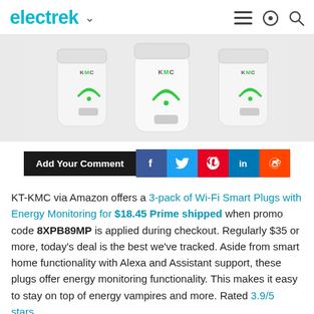electrek
[Figure (photo): Three white KT-KMC Wi-Fi Smart Plugs with green wifi symbol and KMC branding, shown from the front on a white background]
[Figure (infographic): Social sharing bar with 'Add Your Comment' black button, followed by Facebook, Twitter, Pinterest, LinkedIn, and Reddit icon buttons]
KT-KMC via Amazon offers a 3-pack of Wi-Fi Smart Plugs with Energy Monitoring for $18.45 Prime shipped when promo code 8XPB89MP is applied during checkout. Regularly $35 or more, today's deal is the best we've tracked. Aside from smart home functionality with Alexa and Assistant support, these plugs offer energy monitoring functionality. This makes it easy to stay on top of energy vampires and more. Rated 3.9/5 stars.
Head below for more deals on Ryobi's electric pressure